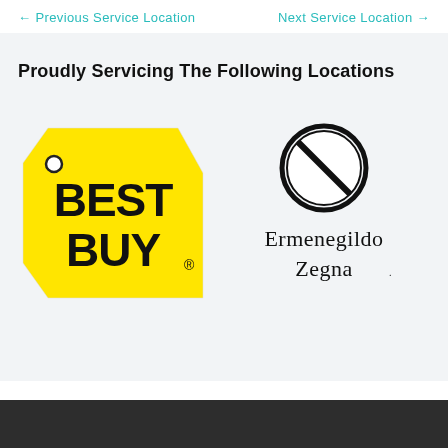← Previous Service Location    Next Service Location →
Proudly Servicing The Following Locations
[Figure (logo): Best Buy logo — yellow price tag shape with black text 'BEST BUY' and registered trademark symbol]
[Figure (logo): Ermenegildo Zegna logo — circular striped emblem above serif text 'Ermenegildo Zegna']